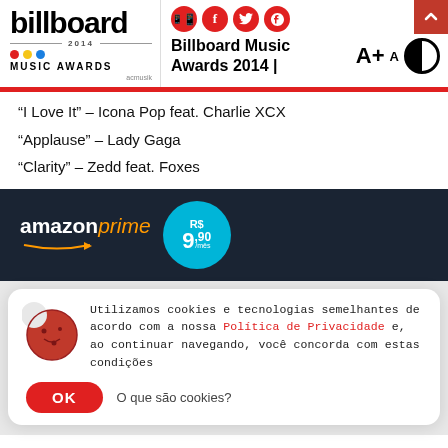[Figure (logo): Billboard 2014 Music Awards logo with colored dots]
[Figure (infographic): Social share icons (WhatsApp, Facebook, Twitter, Pinterest) as red circles, font size controls A+ A, contrast toggle]
Billboard Music Awards 2014 |
“I Love It” – Icona Pop feat. Charlie XCX
“Applause” – Lady Gaga
“Clarity” – Zedd feat. Foxes
[Figure (infographic): Amazon Prime advertisement banner with R$ 9,90/mês price in blue bubble]
Utilizamos cookies e tecnologias semelhantes de acordo com a nossa Política de Privacidade e, ao continuar navegando, você concorda com estas condições
OK   O que são cookies?